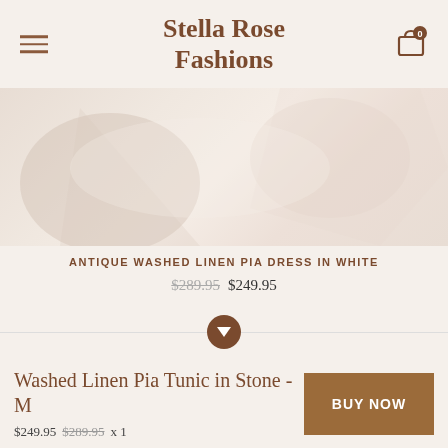Stella Rose Fashions
[Figure (photo): Product photo of a white linen dress, showing fabric texture in soft beige/white tones]
ANTIQUE WASHED LINEN PIA DRESS IN WHITE
$289.95 $249.95
Washed Linen Pia Tunic in Stone - M
$249.95 $289.95 x 1
BUY NOW